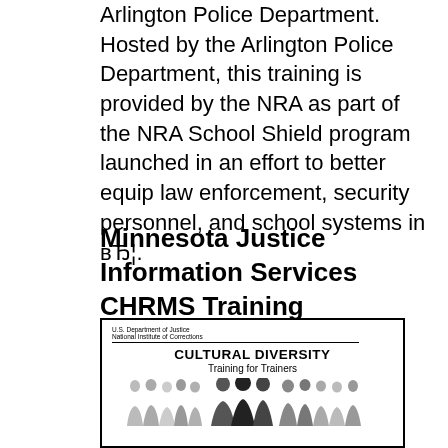Arlington Police Department. Hosted by the Arlington Police Department, this training is provided by the NRA as part of the NRA School Shield program launched in an effort to better equip law enforcement, security personnel, and school systems in вЂ¦.
Minnesota Justice Information Services CHRMS Training
[Figure (illustration): Cover image of a U.S. Department of Justice, National Institute of Corrections document titled 'CULTURAL DIVERSITY Training for Trainers' showing silhouettes of diverse people grouped together.]